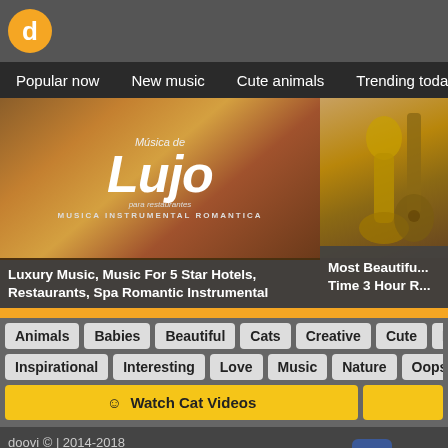doovi - Popular now | New music | Cute animals | Trending today | Hot tra...
[Figure (screenshot): Luxury Music thumbnail - Musica de Lujo para restaurantes, MUSICA INSTRUMENTAL ROMANTICA]
Luxury Music, Music For 5 Star Hotels, Restaurants, Spa Romantic Instrumental
[Figure (photo): Most Beautiful Time 3 Hour R... - saxophone and guitar image]
Most Beautiful Time 3 Hour R...
Animals
Babies
Beautiful
Cats
Creative
Cute
D...
Inspirational
Interesting
Love
Music
Nature
Oops
☺ Watch Cat Videos
doovi © | 2014-2018
Subscriber Count Live
YouTube Subscribers Strategy
Ter...